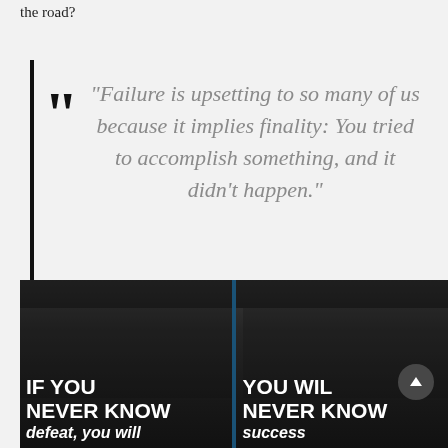the road?
“Failure is upsetting to so many of us because it implies finality: You tried to accomplish something, and it didn’t happen.”
[Figure (photo): Dark photograph showing a window with blue frame dividing the image into two panels. Left panel shows text overlaid: 'IF YOU NEVER KNOW'. Right panel shows text: 'YOU WIL NEVER KNOW' with additional text below. A circular up-arrow button is visible on the right side.]